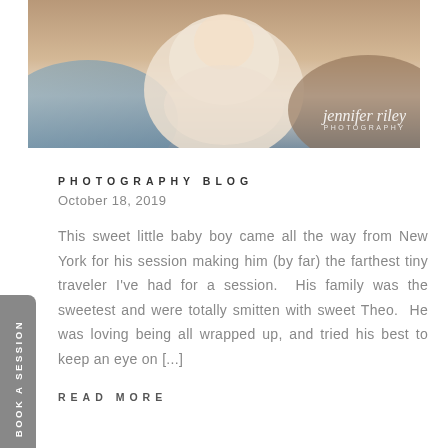[Figure (photo): Close-up newborn baby wrapped in cream/white fabric, with soft blue and brown fabric visible, photographer watermark 'jennifer riley PHOTOGRAPHY' in white script in lower right corner]
PHOTOGRAPHY BLOG
October 18, 2019
This sweet little baby boy came all the way from New York for his session making him (by far) the farthest tiny traveler I've had for a session. His family was the sweetest and were totally smitten with sweet Theo.  He was loving being all wrapped up, and tried his best to keep an eye on [...]
READ MORE